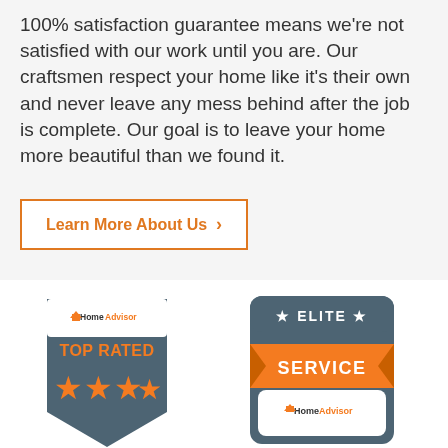100% satisfaction guarantee means we're not satisfied with our work until you are. Our craftsmen respect your home like it's their own and never leave any mess behind after the job is complete. Our goal is to leave your home more beautiful than we found it.
Learn More About Us >
[Figure (logo): HomeAdvisor TOP RATED badge with orange stars on a dark grey shield shape]
[Figure (logo): HomeAdvisor ELITE SERVICE badge with orange ribbon on a grey rounded rectangle]
[Figure (illustration): Green circular phone call button with white phone handset icon]